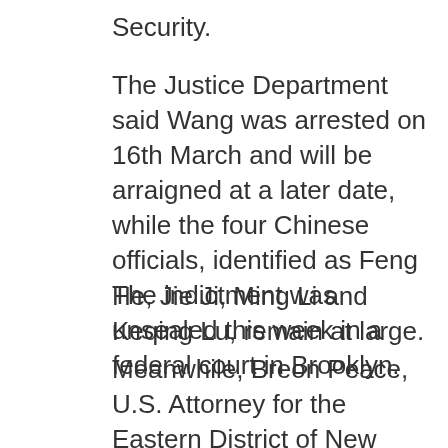Security.
The Justice Department said Wang was arrested on 16th March and will be arraigned at a later date, while the four Chinese officials, identified as Feng He, Jie Ji, Ming Li and Keqing Lu, remain at large.
The indictment was unsealed this week in a federal court in Brooklyn.
Meanwhile, Breon Peace, U.S. Attorney for the Eastern District of New York said, "Today's indictment exposes and